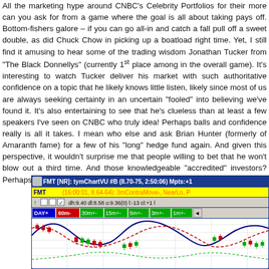All the marketing hype around CNBC's Celebrity Portfolios for their more can you ask for from a game where the goal is all about taking pays off. Bottom-fishers galore – if you can go all-in and catch a fall pull off a sweet double, as did Chuck Chow in picking up a boatload right time. Yet, I still find it amusing to hear some of the trading wisdom Jonathan Tucker from "The Black Donnellys" (currently 1st place among in the overall game). It's interesting to watch Tucker deliver his market with such authoritative confidence on a topic that he likely knows little listen, likely since most of us are always seeking certainty in an uncertain "fooled" into believing we've found it. It's also entertaining to see that he's clueless than at least a few speakers I've seen on CNBC who truly idea! Perhaps balls and confidence really is all it takes. I mean who else and ask Brian Hunter (formerly of Amaranth fame) for a few of his "long" hedge fund again. And given this perspective, it wouldn't surprise me that people willing to bet that he won't blow out a third time. And those knowledgeable "accredited" investors? Perhaps they should just have taken an exam instead…
[Figure (screenshot): Screenshot of FMT stock chart in tymChartVU trading platform showing candlestick chart with moving averages, labeled FMT [NR]: tymChartVU #B (8.70-75, 2:50:06) Mpts:+1, with DAY+, 60m-, 30m+-, 15m+-, 5m+-, 3m+-, 1m+- timeframe buttons]